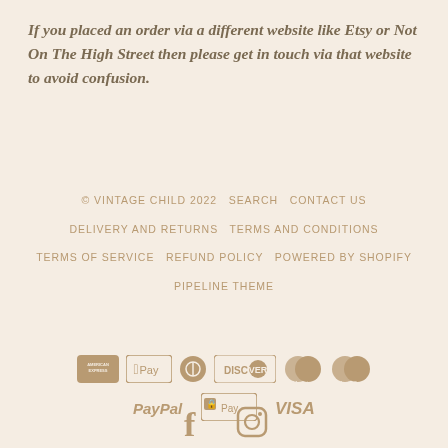If you placed an order via a different website like Etsy or Not On The High Street then please get in touch via that website to avoid confusion.
© VINTAGE CHILD 2022   SEARCH   CONTACT US   DELIVERY AND RETURNS   TERMS AND CONDITIONS   TERMS OF SERVICE   REFUND POLICY   POWERED BY SHOPIFY   PIPELINE THEME
[Figure (other): Payment method icons: American Express, Apple Pay, Diners Club, Discover, Maestro, MasterCard, PayPal, Shop Pay, Visa]
[Figure (other): Social media icons: Facebook and Instagram]